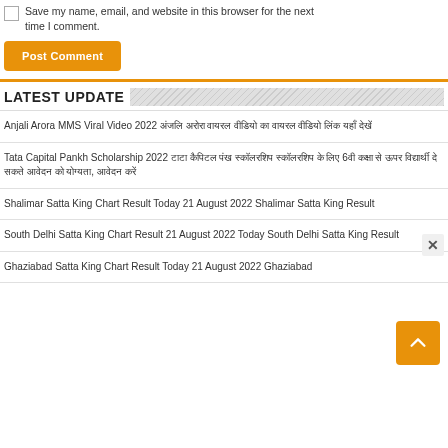Save my name, email, and website in this browser for the next time I comment.
Post Comment
LATEST UPDATE
Anjali Arora MMS Viral Video 2022 अंजलि अरोरा वायरल वीडियो का वायरल वीडियो लिंक यहाँ देखें
Tata Capital Pankh Scholarship 2022 टाटा कैपिटल पंख स्कॉलरशिप स्कॉलरशिप के लिए 6वी कक्षा से ऊपर विद्यार्थी दे सकते आवेदन को योग्यता, आवेदन करें
Shalimar Satta King Chart Result Today 21 August 2022 Shalimar Satta King Result
South Delhi Satta King Chart Result 21 August 2022 Today South Delhi Satta King Result
Ghaziabad Satta King Chart Result Today 21 August 2022 Ghaziabad